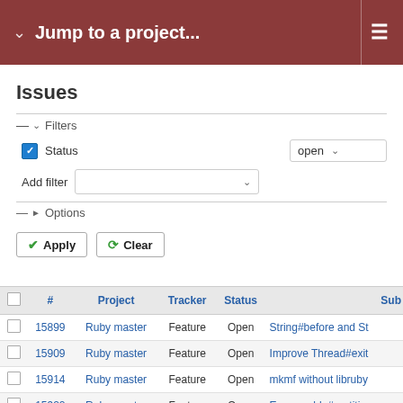Jump to a project...
Issues
Filters
Status  open
Add filter
Options
Apply  Clear
|  | # | Project | Tracker | Status | Sub |
| --- | --- | --- | --- | --- | --- |
|  | 15899 | Ruby master | Feature | Open | String#before and St... |
|  | 15909 | Ruby master | Feature | Open | Improve Thread#exit |
|  | 15914 | Ruby master | Feature | Open | mkmf without librub... |
|  | 15922 | Ruby master | Feature | Open | Enumerable#partition... |
|  | 15927 | Ruby master | Feature | Open | Allow string keys to b... String#% and sprintf |
|  | 15936 | Ruby master | Feature | Open | on_error in lieu of res... |